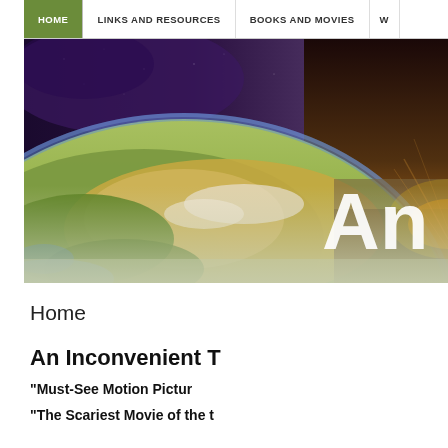HOME | LINKS AND RESOURCES | BOOKS AND MOVIES | W
[Figure (illustration): Hero banner image showing a composite of Earth from space on the left side with green landmasses and blue atmosphere, transitioning to a desert/ocean landscape with warm sunset tones on the right, with large text 'An' visible in white on the right portion]
Home
An Inconvenient T
“Must-See Motion Pictur
“The Scariest Movie of the t